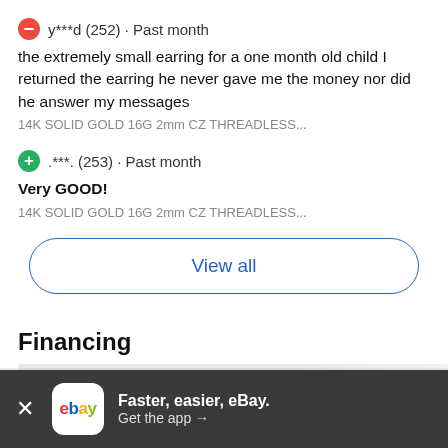y***d (252) · Past month
the extremely small earring for a one month old child I returned the earring he never gave me the money nor did he answer my messages
14K SOLID GOLD 16G 2mm CZ THREADLESS...
.***. (253) · Past month
Very GOOD!
14K SOLID GOLD 16G 2mm CZ THREADLESS...
View all
Financing
Faster, easier, eBay. Get the app →